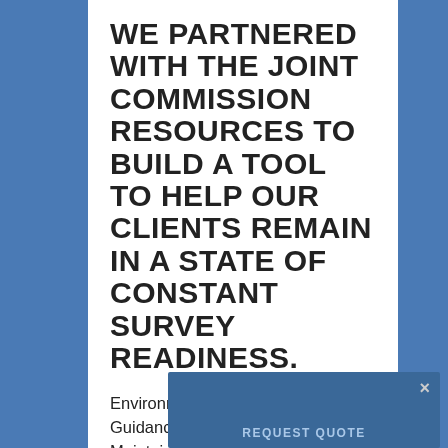WE PARTNERED WITH THE JOINT COMMISSION RESOURCES TO BUILD A TOOL TO HELP OUR CLIENTS REMAIN IN A STATE OF CONSTANT SURVEY READINESS.
Environmental Infection Protection: Guidance for Continuously Maintaining a Safe Patient Care and Survey-Read...
[Figure (screenshot): A partially visible popup overlay at the bottom right showing a 'REQUEST QUOTE' button with a close (×) button, styled in blue.]